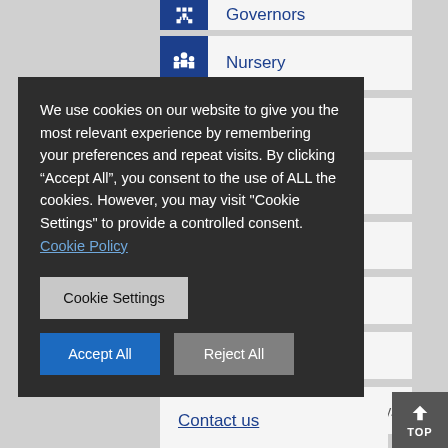Governors
Nursery
School Values
School Events
We use cookies on our website to give you the most relevant experience by remembering your preferences and repeat visits. By clicking “Accept All”, you consent to the use of ALL the cookies. However, you may visit "Cookie Settings" to provide a controlled consent. Cookie Policy
Cookie Settings
Accept All
Reject All